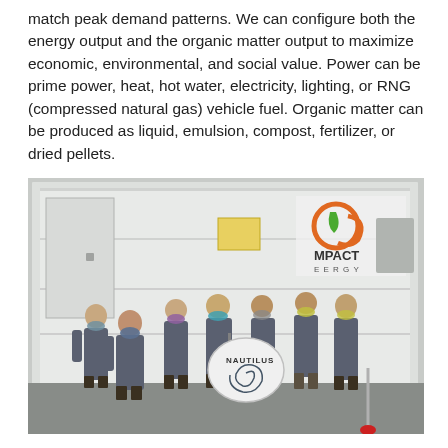match peak demand patterns. We can configure both the energy output and the organic matter output to maximize economic, environmental, and social value. Power can be prime power, heat, hot water, electricity, lighting, or RNG (compressed natural gas) vehicle fuel. Organic matter can be produced as liquid, emulsion, compost, fertilizer, or dried pellets.
[Figure (photo): Group photo of seven people wearing masks and grey uniforms standing in front of a white shipping container with 'IMPACT ENERGY' logo. One person holds a 'NAUTILUS' branded sign/shovel. The setting appears to be a warehouse or industrial facility.]